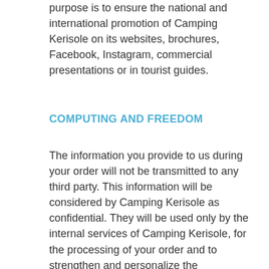purpose is to ensure the national and international promotion of Camping Kerisole on its websites, brochures, Facebook, Instagram, commercial presentations or in tourist guides.
COMPUTING AND FREEDOM
The information you provide to us during your order will not be transmitted to any third party. This information will be considered by Camping Kerisole as confidential. They will be used only by the internal services of Camping Kerisole, for the processing of your order and to strengthen and personalize the communication and the offer of services reserved for the customers of Camping Kerisole according to your centers of interest. In accordance with the Data Protection Act of 6 January 1978, you have the right to access, rectify